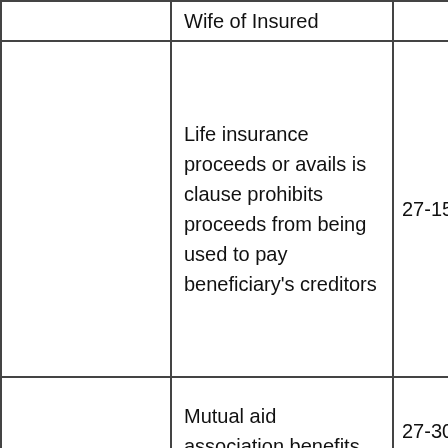|  | Wife of Insured |  |
|  | Life insurance proceeds or avails is clause prohibits proceeds from being used to pay beneficiary's creditors | 27-15-26 |
|  | Mutual aid association benefits | 27-30-25 |
| Personal Property | Books | 6-10-6 |
|  | Burial Plots | 6-10-5 |